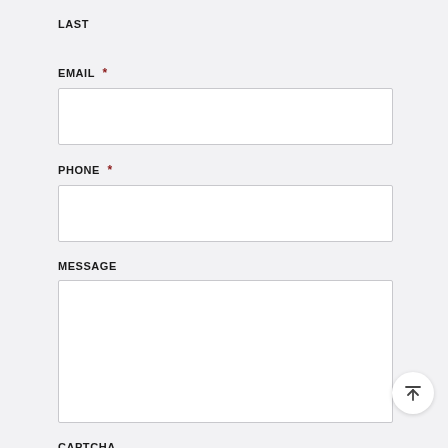LAST
EMAIL *
PHONE *
MESSAGE
CAPTCHA